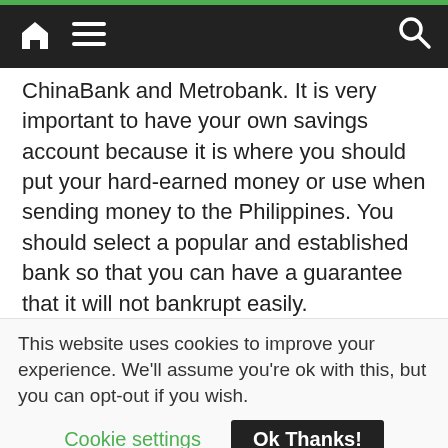Navigation bar with home, menu, and search icons
ChinaBank and Metrobank. It is very important to have your own savings account because it is where you should put your hard-earned money or use when sending money to the Philippines. You should select a popular and established bank so that you can have a guarantee that it will not bankrupt easily.
Your savings account should be enrolled to Internet banking the moment you open a new bank account so that you can monitor your balance and
This website uses cookies to improve your experience. We'll assume you're ok with this, but you can opt-out if you wish.